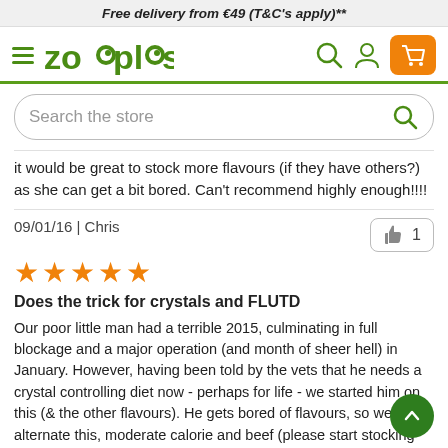Free delivery from €49 (T&C's apply)**
[Figure (logo): Zooplus logo with hamburger menu, search icon, user icon, and shopping cart button]
[Figure (screenshot): Search bar with placeholder text 'Search the store' and search icon]
it would be great to stock more flavours (if they have others?) as she can get a bit bored. Can't recommend highly enough!!!!
09/01/16 | Chris
[Figure (other): 5 orange star rating]
Does the trick for crystals and FLUTD
Our poor little man had a terrible 2015, culminating in full blockage and a major operation (and month of sheer hell) in January. However, having been told by the vets that he needs a crystal controlling diet now - perhaps for life - we started him on this (& the other flavours). He gets bored of flavours, so we alternate this, moderate calorie and beef (please start stocking beef zooplus!) plus the occasional katovit pouch. No bladder problems since the